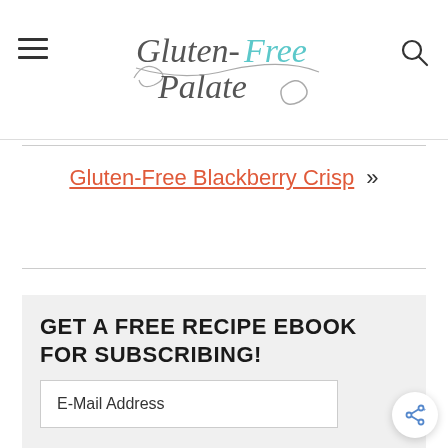[Figure (logo): Gluten-Free Palate website logo with hamburger menu icon on left and search icon on right]
Gluten-Free Blackberry Crisp »
GET A FREE RECIPE EBOOK FOR SUBSCRIBING!
E-Mail Address